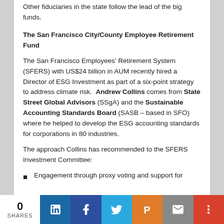Other fiduciaries in the state follow the lead of the big funds.
The San Francisco City/County Employee Retirement Fund
The San Francisco Employees' Retirement System (SFERS) with US$24 billion in AUM recently hired a Director of ESG Investment as part of a six-point strategy to address climate risk.  Andrew Collins comes from State Street Global Advisors (SSgA) and the Sustainable Accounting Standards Board (SASB – based in SFO) where he helped to develop the ESG accounting standards for corporations in 80 industries.
The approach Collins has recommended to the SFERS Investment Committee:
Engagement through proxy voting and support for